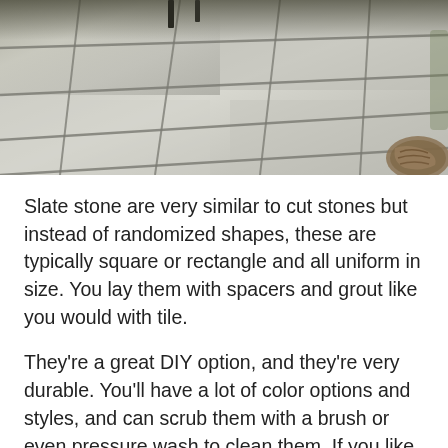[Figure (photo): Close-up photo of slate stone tiles laid with uniform grout lines, light grey color, viewed from above at an angle. Partial view of furniture legs visible at top, and a woven rope/basket visible at bottom right corner.]
Slate stone are very similar to cut stones but instead of randomized shapes, these are typically square or rectangle and all uniform in size. You lay them with spacers and grout like you would with tile.
They're a great DIY option, and they're very durable. You'll have a lot of color options and styles, and can scrub them with a brush or even pressure wash to clean them. If you like expensive outdoor furniture, these patio surface alternatives can really turn the sophistication up a notch.